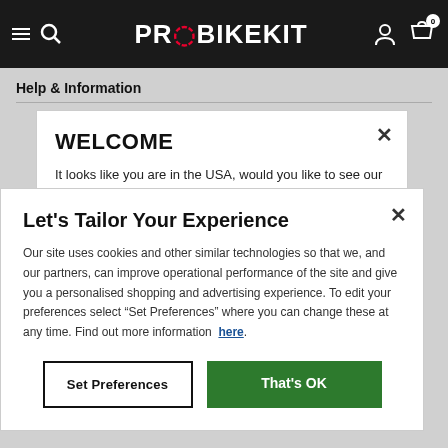PROBIKEKIT
Help & Information
WELCOME
It looks like you are in the USA, would you like to see our US site with $USD currency?
Let's Tailor Your Experience
Our site uses cookies and other similar technologies so that we, and our partners, can improve operational performance of the site and give you a personalised shopping and advertising experience. To edit your preferences select "Set Preferences" where you can change these at any time. Find out more information here.
Set Preferences
That's OK